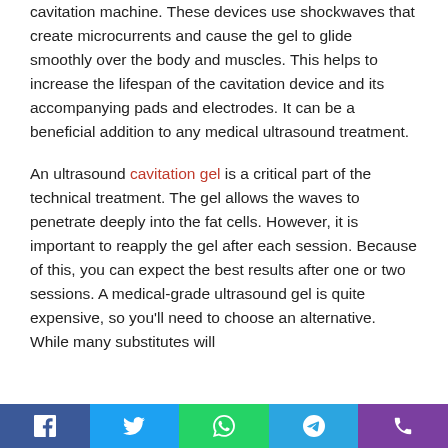cavitation machine. These devices use shockwaves that create microcurrents and cause the gel to glide smoothly over the body and muscles. This helps to increase the lifespan of the cavitation device and its accompanying pads and electrodes. It can be a beneficial addition to any medical ultrasound treatment.
An ultrasound cavitation gel is a critical part of the technical treatment. The gel allows the waves to penetrate deeply into the fat cells. However, it is important to reapply the gel after each session. Because of this, you can expect the best results after one or two sessions. A medical-grade ultrasound gel is quite expensive, so you'll need to choose an alternative. While many substitutes will
Social share buttons: Facebook, Twitter, WhatsApp, Telegram, Phone